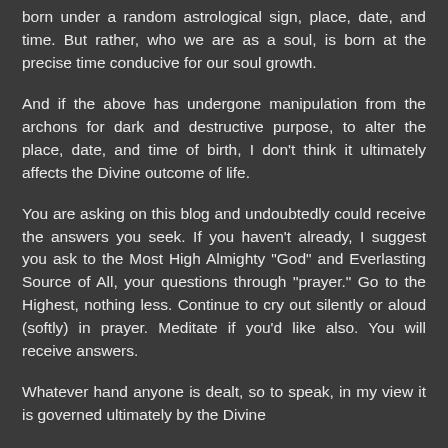born under a random astrological sign, place, date, and time. But rather, who we are as a soul, is born at the precise time conducive for our soul growth.
And if the above has undergone manipulation from the archons for dark and destructive purpose, to alter the place, date, and time of birth, I don't think it ultimately affects the Divine outcome of life.
You are asking on this blog and undoubtedly could receive the answers you seek. If you haven't already, I suggest you ask to the Most High Almighty "God" and Everlasting Source of All, your questions through "prayer." Go to the Highest, nothing less. Continue to cry out silently or aloud (softly) in prayer. Meditate if you'd like also. You will receive answers.
Whatever hand anyone is dealt, so to speak, in my view it is governed ultimately by the Divine